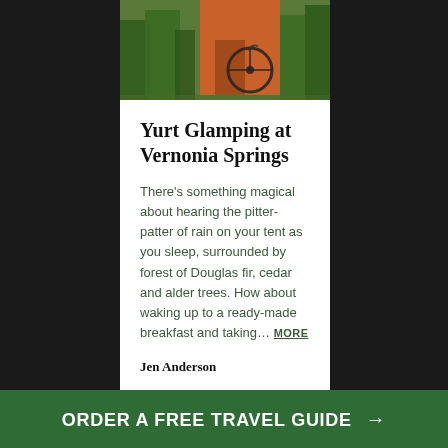[Figure (photo): Outdoor camping/glamping scene with bicycle, orange structure, trees and greenery visible in background photo at top of card]
Yurt Glamping at Vernonia Springs
There’s something magical about hearing the pitter-patter of rain on your tent as you sleep, surrounded by forest of Douglas fir, cedar and alder trees. How about waking up to a ready-made breakfast and taking… MORE
Jen Anderson
ORDER A FREE TRAVEL GUIDE →